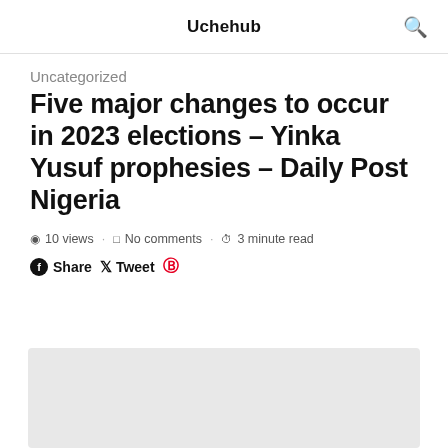Uchehub
Uncategorized
Five major changes to occur in 2023 elections – Yinka Yusuf prophesies – Daily Post Nigeria
10 views · No comments · 3 minute read
Share  Tweet
[Figure (photo): Light gray image placeholder at bottom of page]